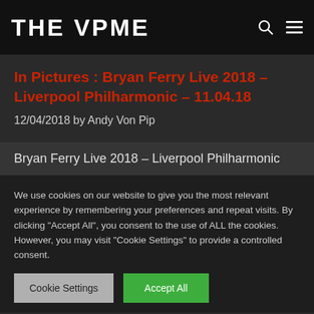THE VPME
In Pictures : Bryan Ferry Live 2018 – Liverpool Philharmonic – 11.04.18
12/04/2018 by Andy Von Pip
Bryan Ferry Live 2018 – Liverpool Philharmonic
We use cookies on our website to give you the most relevant experience by remembering your preferences and repeat visits. By clicking "Accept All", you consent to the use of ALL the cookies. However, you may visit "Cookie Settings" to provide a controlled consent.
Cookie Settings | Accept All